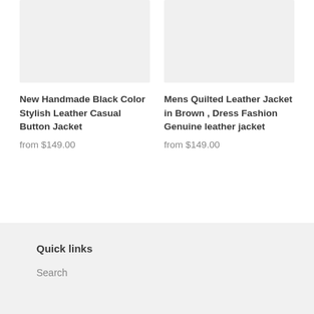[Figure (photo): Product image placeholder for New Handmade Black Color Stylish Leather Casual Button Jacket - light gray background]
[Figure (photo): Product image placeholder for Mens Quilted Leather Jacket in Brown, Dress Fashion Genuine leather jacket - light gray background]
New Handmade Black Color Stylish Leather Casual Button Jacket
from $149.00
Mens Quilted Leather Jacket in Brown , Dress Fashion Genuine leather jacket
from $149.00
Quick links
Search